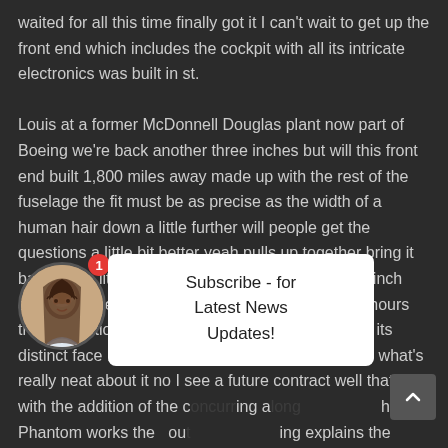waited for all this time finally got it I can't wait to get up the front end which includes the cockpit with all its intricate electronics was built in st.
Louis at a former McDonnell Douglas plant now part of Boeing we're back another three inches but will this front end built 1,800 miles away made up with the rest of the fuselage the fit must be as precise as the width of a human hair down a little further will people get the questions a little bit better yeah pulls up together bring it back just a little bit more bring it back about a half inch and we're there good that's good in less than two hours the installation is complete the boeing x-plane has its distinct face I starting to look like an airplane that's what's really neat about it no I see a future contract well that too with the addition of the ... ring a... the Phantom works the ... ou... ing explains the c... s now... e and morale could be higher went great looks like an airplane now look at it
[Figure (other): Circular avatar photo of a woman with dark hair smiling, with a red notification badge showing '1']
Subscribe - for Latest News Updates!